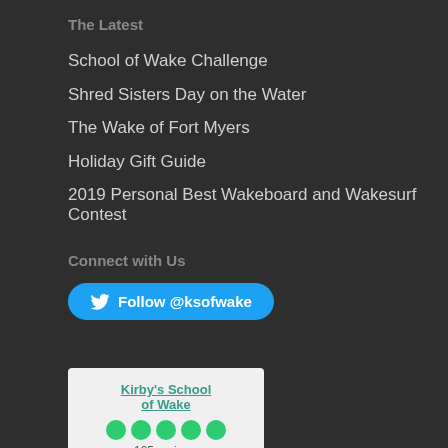The Latest
School of Wake Challenge
Shred Sisters Day on the Water
The Wake of Fort Myers
Holiday Gift Guide
2019 Personal Best Wakeboard and Wakesurf Contest
Connect with Us
Follow @ksofwake
Kirby's School of Wake
125 reviews